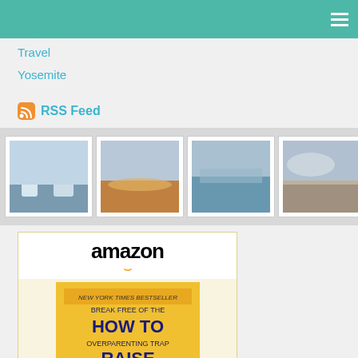Teenagers
Therapy
Travel
Yosemite
RSS Feed
[Figure (photo): A horizontal strip of 7 framed sky/cloud photographs in a grey panel, followed by an advertisement panel with a play button icon and 'nulEon BLUE' logo.]
[Figure (screenshot): Amazon advertisement for 'How to Raise an Adult: Break...' book priced at $16.96 with Prime badge and 'Shop now' button.]